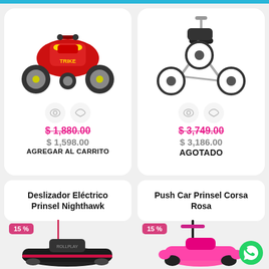[Figure (photo): Red children's electric trike toy]
$1,880.00
$1,598.00
AGREGAR AL CARRITO
[Figure (photo): Silver/black children's tricycle]
$3,749.00
$3,186.00
AGOTADO
Deslizador Eléctrico Prinsel Nighthawk
Push Car Prinsel Corsa Rosa
[Figure (photo): Black electric slider toy Nighthawk with 15% badge]
[Figure (photo): Pink push car Corsa Rosa with 15% badge]